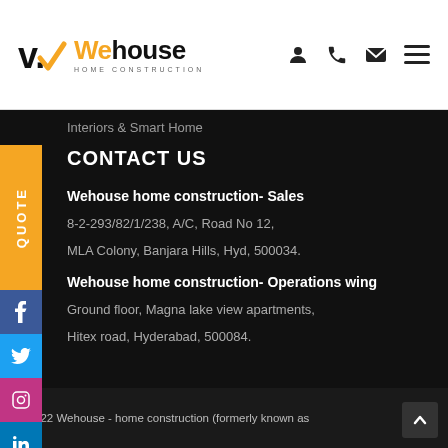[Figure (logo): Wehouse Home Construction logo with orange checkmark and text]
Interiors & Smart Home
CONTACT US
Wehouse home construction- Sales
8-2-293/82/1/238, A/C, Road No 12,
MLA Colony, Banjara Hills, Hyd, 500034.
Wehouse home construction- Operations wing
Ground floor, Magna lake view apartments,
Hitex road, Hyderabad, 500084.
© 2022 Wehouse - home construction (formerly known as